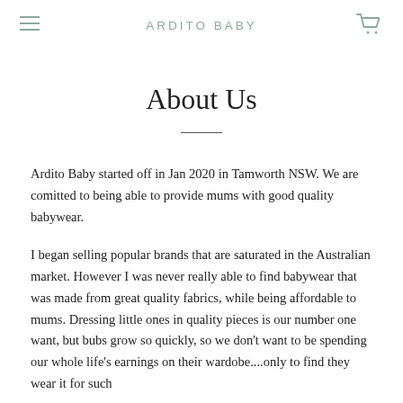ARDITO BABY
About Us
Ardito Baby started off in Jan 2020 in Tamworth NSW. We are comitted to being able to provide mums with good quality babywear.
I began selling popular brands that are saturated in the Australian market. However I was never really able to find babywear that was made from great quality fabrics, while being affordable to mums. Dressing little ones in quality pieces is our number one want, but bubs grow so quickly, so we don't want to be spending our whole life's earnings on their wardobe....only to find they wear it for such